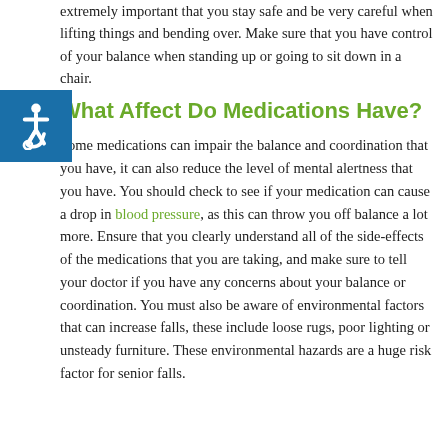extremely important that you stay safe and be very careful when lifting things and bending over. Make sure that you have control of your balance when standing up or going to sit down in a chair.
What Affect Do Medications Have?
Some medications can impair the balance and coordination that you have, it can also reduce the level of mental alertness that you have. You should check to see if your medication can cause a drop in blood pressure, as this can throw you off balance a lot more. Ensure that you clearly understand all of the side-effects of the medications that you are taking, and make sure to tell your doctor if you have any concerns about your balance or coordination. You must also be aware of environmental factors that can increase falls, these include loose rugs, poor lighting or unsteady furniture. These environmental hazards are a huge risk factor for senior falls.